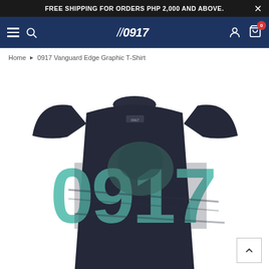FREE SHIPPING FOR ORDERS PHP 2,000 AND ABOVE.
//0917 navigation bar with hamburger, search, logo, user, and cart icons
Home ► 0917 Vanguard Edge Graphic T-Shirt
[Figure (photo): Dark navy blue 0917 Vanguard Edge Graphic T-Shirt with large teal/mint colored '0917' graphic print on the front, displayed flat on a white background.]